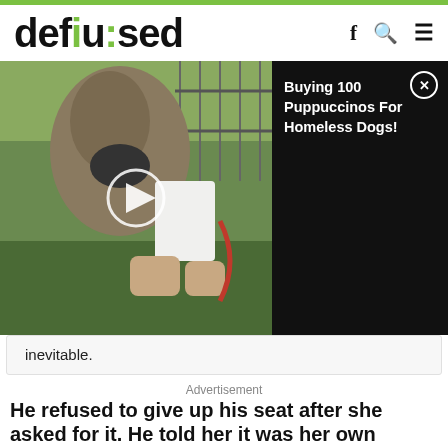defused
[Figure (screenshot): Video thumbnail showing a dog being offered a cup, with a play button overlay. Adjacent dark panel shows text 'Buying 100 Puppuccinos For Homeless Dogs!' with a close button.]
inevitable.
Advertisement
He refused to give up his seat after she asked for it. He told her it was her own personal choice to get pregnant.
I wasn't rude or anything, I just told her no, I've had a long day and my feet are